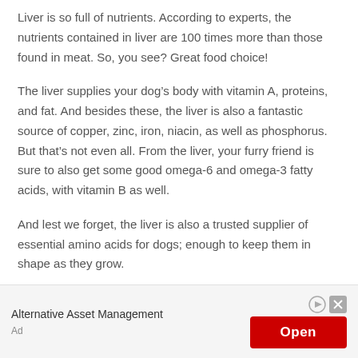Liver is so full of nutrients. According to experts, the nutrients contained in liver are 100 times more than those found in meat. So, you see? Great food choice!
The liver supplies your dog’s body with vitamin A, proteins, and fat. And besides these, the liver is also a fantastic source of copper, zinc, iron, niacin, as well as phosphorus. But that’s not even all. From the liver, your furry friend is sure to also get some good omega-6 and omega-3 fatty acids, with vitamin B as well.
And lest we forget, the liver is also a trusted supplier of essential amino acids for dogs; enough to keep them in shape as they grow.
[Figure (other): Advertisement banner: Alternative Asset Management with an Open button in red]